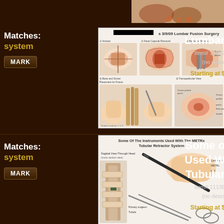[Figure (illustration): Partial medical illustration visible at top of page (cropped)]
Matches:
system
MARK
[Figure (illustration): Lumbar Fusion Surgery medical illustration showing surgical steps: Facet Capsule Removal, Hardware Placement, Bone and Screw Placement for Frame, Transpedicular View. Title: [REDACTED]'s 3/9/09 Lumbar Fusion Surgery]
Lumbar
Item# 11222
(no descr
Starting at $
Matches:
system
MARK
[Figure (illustration): Some Of The Instruments Used With The METRx Tubular Retractor System - showing sagittal view through head and surgical instruments including retractor system]
Some o
Used W
Tubular
Item# 11138
(no descr
Starting at $